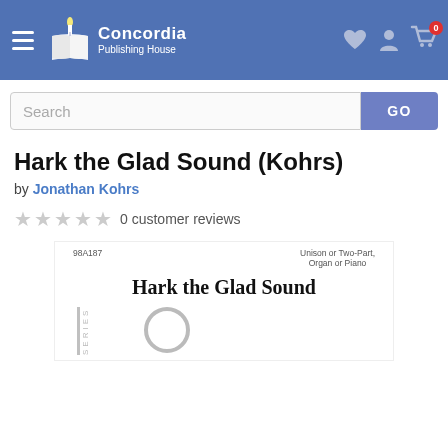Concordia Publishing House
Search
Hark the Glad Sound (Kohrs)
by Jonathan Kohrs
0 customer reviews
[Figure (other): Product thumbnail showing sheet music cover for 'Hark the Glad Sound' with catalog number 98A187, Unison or Two-Part, Organ or Piano, with series bar and loading icon]
Hark the Glad Sound